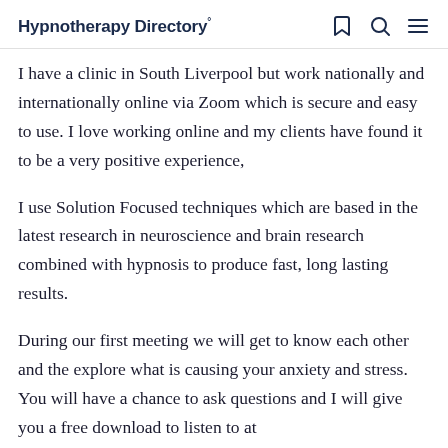Hypnotherapy Directory°
I have a clinic in South Liverpool but work nationally and internationally online via Zoom which is secure and easy to use. I love working online and my clients have found it to be a very positive experience,
I use Solution Focused techniques which are based in the latest research in neuroscience and brain research combined with hypnosis to produce fast, long lasting results.
During our first meeting we will get to know each other and the explore what is causing your anxiety and stress. You will have a chance to ask questions and I will give you a free download to listen to at